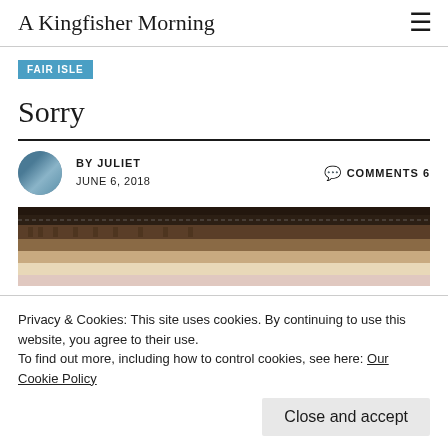A Kingfisher Morning
FAIR ISLE
Sorry
BY JULIET   COMMENTS 6
JUNE 6, 2018
[Figure (photo): Close-up photo of Fair Isle knitting showing colorwork pattern in dark brown, tan, cream, and pink tones.]
Privacy & Cookies: This site uses cookies. By continuing to use this website, you agree to their use.
To find out more, including how to control cookies, see here: Our Cookie Policy
Close and accept